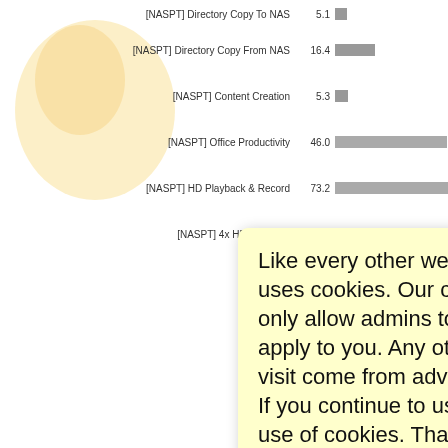[Figure (bar-chart): NASPT Benchmark Results]
Like every other website on the planet, SmallNetBuilder uses cookies. Our cookies track login status, but we only allow admins to log in anyway, so those don't apply to you. Any other cookies you pick up during your visit come from advertisers, which we don't control.
If you continue to use the site, you agree to tolerate our use of cookies. Thank you!